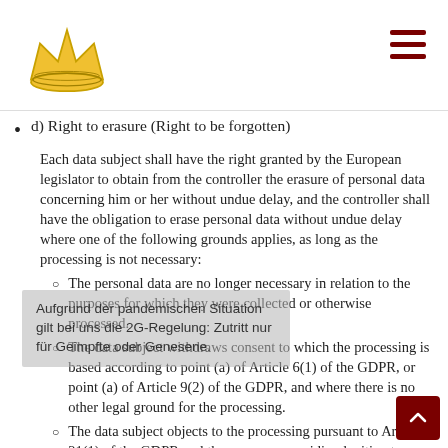d) Right to erasure (Right to be forgotten)
Each data subject shall have the right granted by the European legislator to obtain from the controller the erasure of personal data concerning him or her without undue delay, and the controller shall have the obligation to erase personal data without undue delay where one of the following grounds applies, as long as the processing is not necessary:
The personal data are no longer necessary in relation to the purposes for which they were collected or otherwise processed.
The data subject withdraws consent to which the processing is based according to point (a) of Article 6(1) of the GDPR, or point (a) of Article 9(2) of the GDPR, and where there is no other legal ground for the processing.
The data subject objects to the processing pursuant to Article 21(1) of the GDPR and there are no overriding legitimate grounds for the processing, or